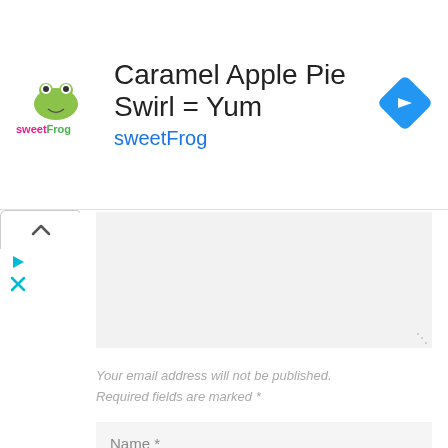[Figure (screenshot): SweetFrog advertisement banner with logo, title 'Caramel Apple Pie Swirl = Yum', subtitle 'sweetFrog', and navigation icon]
Your email address will not be published. Required fields are marked *
Name *
Email *